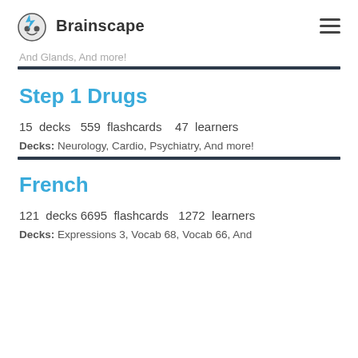Brainscape
And Glands, And more!
Step 1 Drugs
15 decks   559 flashcards   47 learners
Decks: Neurology, Cardio, Psychiatry, And more!
French
121 decks 6695 flashcards  1272 learners
Decks: Expressions 3, Vocab 68, Vocab 66, And